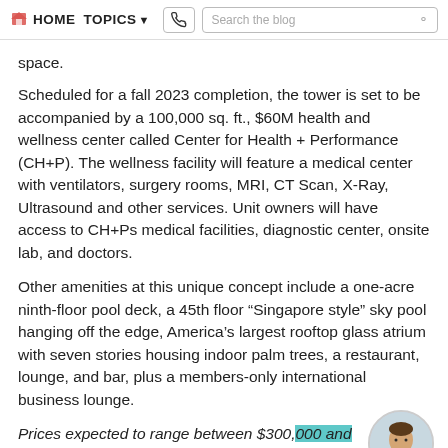HOME  TOPICS  Search the blog
space.
Scheduled for a fall 2023 completion, the tower is set to be accompanied by a 100,000 sq. ft., $60M health and wellness center called Center for Health + Performance (CH+P). The wellness facility will feature a medical center with ventilators, surgery rooms, MRI, CT Scan, X-Ray, Ultrasound and other services. Unit owners will have access to CH+Ps medical facilities, diagnostic center, onsite lab, and doctors.
Other amenities at this unique concept include a one-acre ninth-floor pool deck, a 45th floor “Singapore style” sky pool hanging off the edge, America’s largest rooftop glass atrium with seven stories housing indoor palm trees, a restaurant, lounge, and bar, plus a members-only international business lounge.
Prices expected to range between $300,000 and $500,000, with a choice of studio to two-bedroom
[Figure (photo): Circular profile photo of a man in a suit and tie]